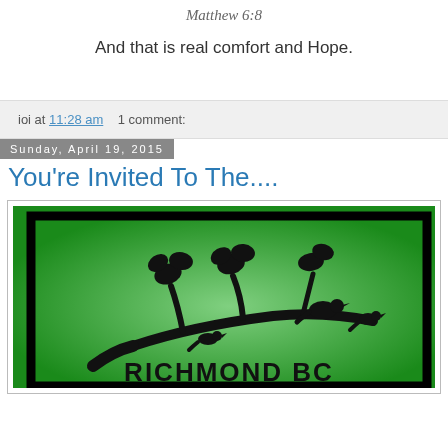Matthew 6:8
And that is real comfort and Hope.
ioi at 11:28 am   1 comment:
Sunday, April 19, 2015
You're Invited To The....
[Figure (logo): Green background logo with black silhouette of birds on a tree branch, with text 'RICHMOND BC' at the bottom in bold black letters. Black rectangular border frame on green background.]